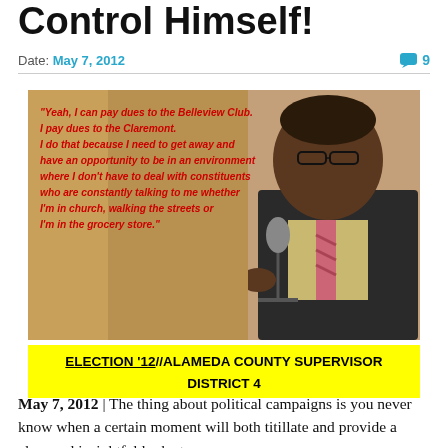Control Himself!
Date: May 7, 2012  💬 9
[Figure (photo): A Black man in a suit and tie speaking into a microphone at a podium, with a large red bold italic quote overlaid on the left side of the image reading: "Yeah, I can pay dues to the Belleview Club. I pay dues to the Claremont. I do that because I need to get away and have an opportunity to be in an environment where I don't have to deal with constituents who are constantly talking to me whether I'm in church, walking the streets or I'm in the grocery store."]
ELECTION '12//ALAMEDA COUNTY SUPERVISOR DISTRICT 4
May 7, 2012 | The thing about political campaigns is you never know when a certain moment will both titillate and provide a clear and insightful look at a